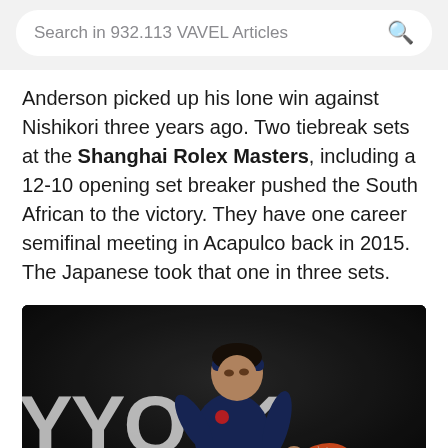Search in 932.113 VAVEL Articles
Anderson picked up his lone win against Nishikori three years ago. Two tiebreak sets at the Shanghai Rolex Masters, including a 12-10 opening set breaker pushed the South African to the victory. They have one career semifinal meeting in Acapulco back in 2015. The Japanese took that one in three sets.
[Figure (photo): Tennis player Kei Nishikori hitting a shot, wearing a navy blue shirt and headband, with a dark background showing partial YONEX branding]